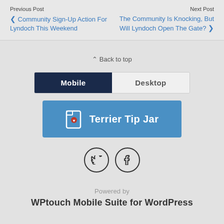Previous Post | Next Post
‹ Community Sign-Up Action For Lyndoch This Weekend | The Community Is Knocking, But Will Lyndoch Open The Gate? ›
^ Back to top
[Figure (infographic): Mobile/Desktop tab switcher with Mobile tab selected (dark navy) and Desktop tab unselected (light grey)]
[Figure (infographic): Blue button with document-heart icon labeled 'Terrier Tip Jar']
[Figure (infographic): Two circular social media icons: Twitter (bird) and Facebook (f)]
Powered by
WPtouch Mobile Suite for WordPress